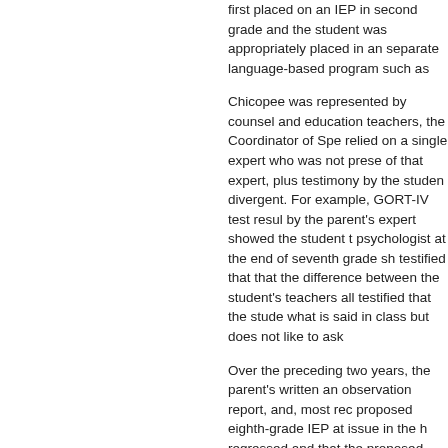first placed on an IEP in second grade and the student was appropriately placed in an separate language-based program such as
Chicopee was represented by counsel and education teachers, the Coordinator of Spe relied on a single expert who was not prese of that expert, plus testimony by the studen divergent. For example, GORT-IV test resul by the parent's expert showed the student t psychologist at the end of seventh grade sh testified that that the difference between the student's teachers all testified that the stude what is said in class but does not like to ask
Over the preceding two years, the parent's written an observation report, and, most rec proposed eighth-grade IEP at issue in the h regressed and that the proposed inclusion p instruction. She stated that the student's ne
In weighing the evidence, the hearing office it was the only one that concerned the eigh weight than he would have done if she had clarification, and might have cured some of